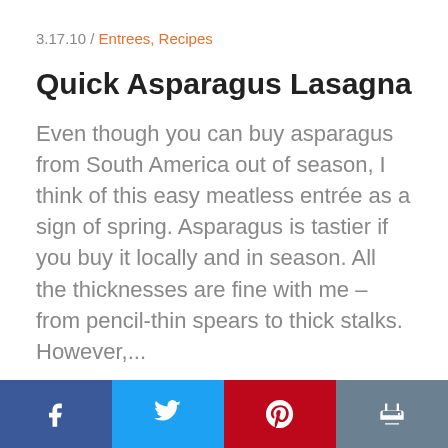3.17.10 / Entrees, Recipes
Quick Asparagus Lasagna
Even though you can buy asparagus from South America out of season, I think of this easy meatless entrée as a sign of spring. Asparagus is tastier if you buy it locally and in season. All the thicknesses are fine with me – from pencil-thin spears to thick stalks. However,...
Facebook, Twitter, Pinterest, Print